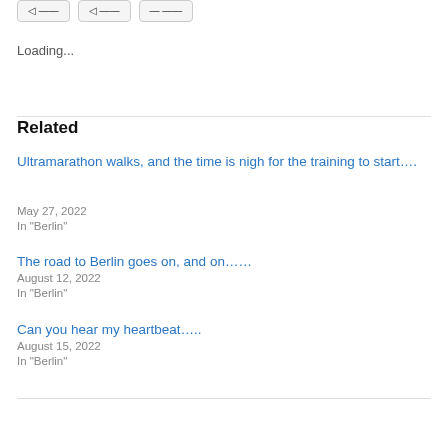Loading...
Related
Ultramarathon walks, and the time is nigh for the training to start….
May 27, 2022
In "Berlin"
The road to Berlin goes on, and on……
August 12, 2022
In "Berlin"
Can you hear my heartbeat…..
August 15, 2022
In "Berlin"